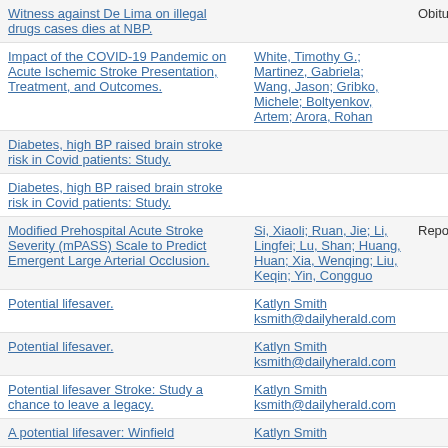| Title | Authors | Type |
| --- | --- | --- |
| Witness against De Lima on illegal drugs cases dies at NBP. |  | Obitua… |
| Impact of the COVID-19 Pandemic on Acute Ischemic Stroke Presentation, Treatment, and Outcomes. | White, Timothy G.; Martinez, Gabriela; Wang, Jason; Gribko, Michele; Boltyenkov, Artem; Arora, Rohan |  |
| Diabetes, high BP raised brain stroke risk in Covid patients: Study. |  |  |
| Diabetes, high BP raised brain stroke risk in Covid patients: Study. |  |  |
| Modified Prehospital Acute Stroke Severity (mPASS) Scale to Predict Emergent Large Arterial Occlusion. | Si, Xiaoli; Ruan, Jie; Li, Lingfei; Lu, Shan; Huang, Huan; Xia, Wenqing; Liu, Keqin; Yin, Congguo | Report |
| Potential lifesaver. | Katlyn Smith ksmith@dailyherald.com |  |
| Potential lifesaver. | Katlyn Smith ksmith@dailyherald.com |  |
| Potential lifesaver Stroke: Study a chance to leave a legacy. | Katlyn Smith ksmith@dailyherald.com |  |
| A potential lifesaver: Winfield | Katlyn Smith |  |